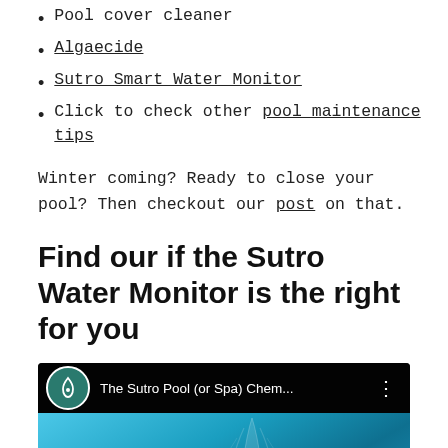Pool cover cleaner
Algaecide
Sutro Smart Water Monitor
Click to check other pool maintenance tips
Winter coming? Ready to close your pool? Then checkout our post on that.
Find our if the Sutro Water Monitor is the right for you
[Figure (screenshot): YouTube video thumbnail for 'The Sutro Pool (or Spa) Chem...' showing the Sutro water monitor device floating in blue water with a red YouTube play button overlay and Sutro logo circle icon.]